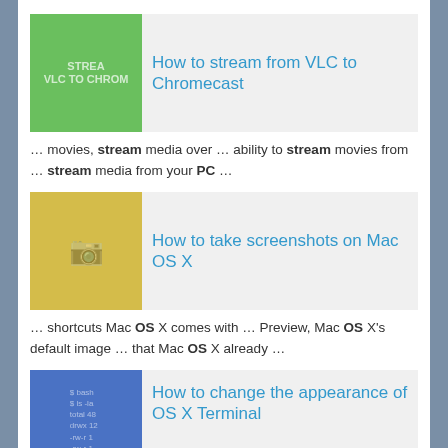[Figure (screenshot): Thumbnail image for VLC to Chromecast article, green background with text STREAM VLC TO CHROME]
How to stream from VLC to Chromecast
... movies, stream media over ... ability to stream movies from ... stream media from your PC ...
[Figure (screenshot): Thumbnail image for Mac OS X screenshots article, yellow background with camera icons]
How to take screenshots on Mac OS X
... shortcuts Mac OS X comes with ... Preview, Mac OS X's default image ... that Mac OS X already ...
[Figure (screenshot): Thumbnail image for OS X Terminal article, blue background with terminal text]
How to change the appearance of OS X Terminal